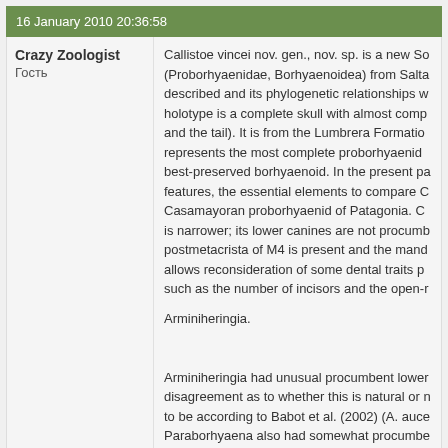16 January 2010 20:36:58
Crazy Zoologist
Гость
Callistoe vincei nov. gen., nov. sp. is a new So (Proborhyaenidae, Borhyaenoidea) from Salta described and its phylogenetic relationships w holotype is a complete skull with almost comp and the tail). It is from the Lumbrera Formatio represents the most complete proborhyaenid best-preserved borhyaenoid. In the present pa features, the essential elements to compare C Casamayoran proborhyaenid of Patagonia. C is narrower; its lower canines are not procumb postmetacrista of M4 is present and the mand allows reconsideration of some dental traits p such as the number of incisors and the open-r

Arminiheringia.

Arminiheringia had unusual procumbent lower disagreement as to whether this is natural or n to be according to Babot et al. (2002) (A. auce Paraborhyaena also had somewhat procumbe Simpson (1932) regarded Arminiheringia auce most specialised borhyaenoid, and also one c Pharsophorus lacerans' (Pharsophorus is a be was, however, I have no idea - and was it sup